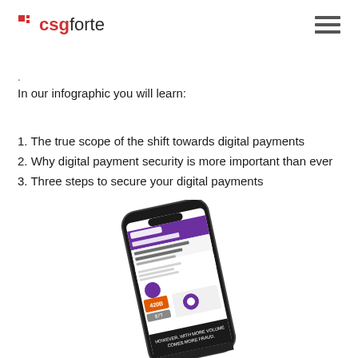csgforte
.
In our infographic you will learn:
1. The true scope of the shift towards digital payments
2. Why digital payment security is more important than ever
3. Three steps to secure your digital payments
[Figure (photo): A smartphone displaying a CSG Forte infographic about digital payments being on the rise, angled slightly, showing sections about digital payment security options and fraud statistics.]